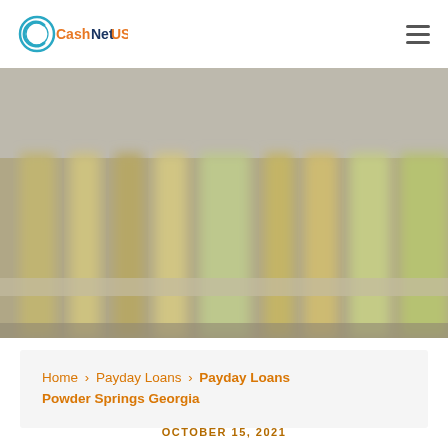[Figure (logo): CashNetUSA logo with blue-green circular C icon and orange/blue text]
[Figure (photo): Blurred hero image showing architectural columns or shelving with warm golden/yellow tones]
Home › Payday Loans › Payday Loans Powder Springs Georgia
OCTOBER 15, 2021